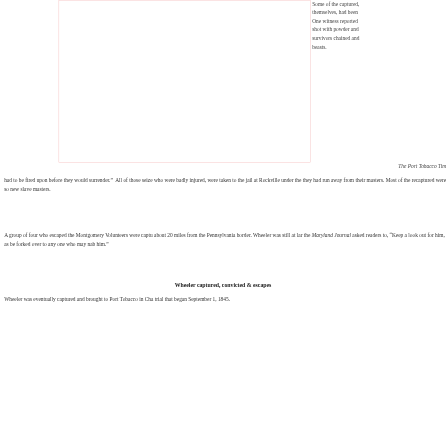[Figure (illustration): A rectangular placeholder image with a light pink/red border, representing an illustration related to the historical content about escaped slaves.]
Some of the captured, themselves, had been One witness reported shot with powder and survivors chained and beasts.
The Port Tobacco Tim
had to be fired upon before they would surrender.” All of those seize who were badly injured, were taken to the jail at Rockville under the they had run away from their masters. Most of the recaptured were so new slave masters.
A group of four who escaped the Montgomery Volunteers were captu about 20 miles from the Pennsylvania border. Wheeler was still at lar the Maryland Journal asked readers to, “Keep a look out for him, as be forked over to any one who may nab him.”
Wheeler captured, convicted & escapes
Wheeler was eventually captured and brought to Port Tobacco in Cha trial that began September 1, 1845.